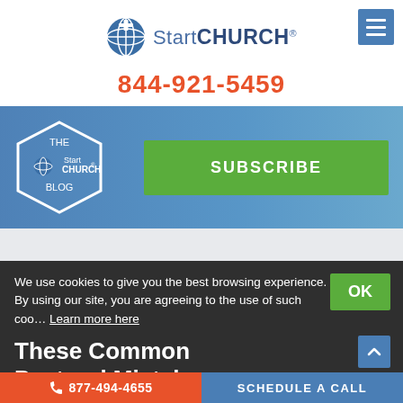[Figure (logo): StartCHURCH logo with circular icon containing a cross and globe, text reads 'StartCHURCH®']
844-921-5459
[Figure (infographic): Blue banner background with church/plant imagery. Contains a hexagonal badge reading 'THE StartCHURCH® BLOG' and a green SUBSCRIBE button.]
We use cookies to give you the best browsing experience. By using our site, you are agreeing to the use of such cookies. Learn more here
These Common Pastoral Mistakes
877-494-4655   SCHEDULE A CALL